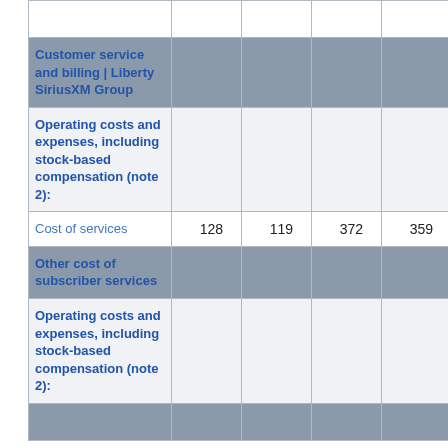|  |  |  |  |  |
| --- | --- | --- | --- | --- |
| (partial top row) |  |  |  |  |
| Customer service and billing | Liberty SiriusXM Group |  |  |  |  |
| Operating costs and expenses, including stock-based compensation (note 2): |  |  |  |  |
| Cost of services | 128 | 119 | 372 | 359 |
| Other cost of subscriber services |  |  |  |  |
| Operating costs and expenses, including stock-based compensation (note 2): |  |  |  |  |
| (partial bottom row) |  |  |  |  |